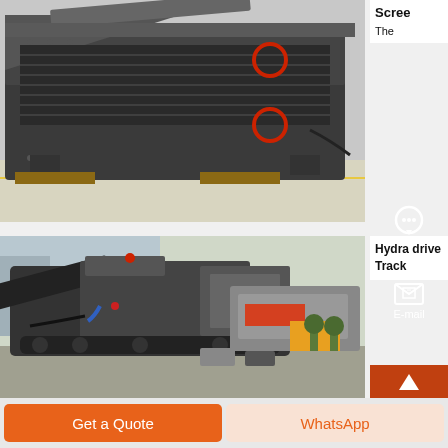[Figure (photo): Industrial vibrating screen machine, large black metal frame with red circular elements, sitting in a factory warehouse on wooden pallets]
Scree
The
[Figure (photo): Hydraulic driven track mobile crushing/screening plant parked outdoors, with large machinery visible including conveyor belts and processing units]
Hydra drive Track
Chat
E-mail
Get a Quote
WhatsApp